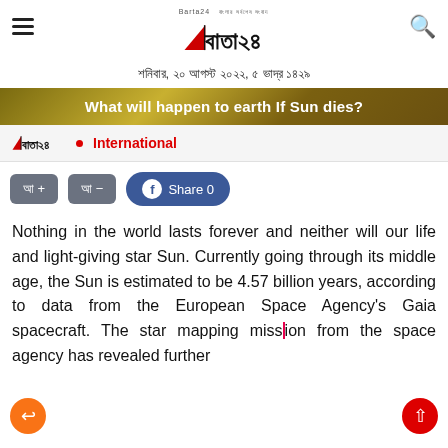Barta24 — শিনবার, ২০ আগস্ট ২০২২, ৫ ভাদ্র ১৪২৯
What will happen to earth If Sun dies?
International
Nothing in the world lasts forever and neither will our life and light-giving star Sun. Currently going through its middle age, the Sun is estimated to be 4.57 billion years, according to data from the European Space Agency's Gaia spacecraft. The star mapping mission from the space agency has revealed further